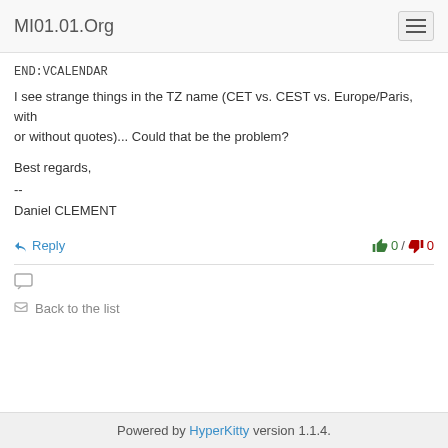MI01.01.Org
END:VCALENDAR
I see strange things in the TZ name (CET vs. CEST vs. Europe/Paris, with
or without quotes)... Could that be the problem?
Best regards,
--
Daniel CLEMENT
↩ Reply   👍 0 / 👎 0
Back to the list
Powered by HyperKitty version 1.1.4.